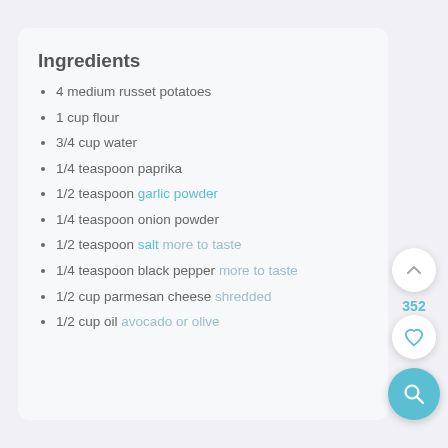Ingredients
4 medium russet potatoes
1 cup flour
3/4 cup water
1/4 teaspoon paprika
1/2 teaspoon garlic powder
1/4 teaspoon onion powder
1/2 teaspoon salt more to taste
1/4 teaspoon black pepper more to taste
1/2 cup parmesan cheese shredded
1/2 cup oil avocado or olive